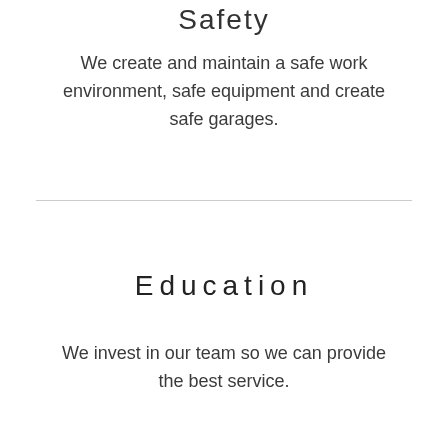Safety
We create and maintain a safe work environment, safe equipment and create safe garages.
Education
We invest in our team so we can provide the best service.